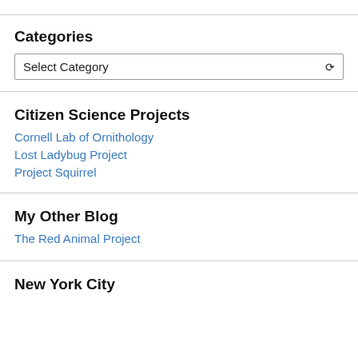Categories
Select Category
Citizen Science Projects
Cornell Lab of Ornithology
Lost Ladybug Project
Project Squirrel
My Other Blog
The Red Animal Project
New York City